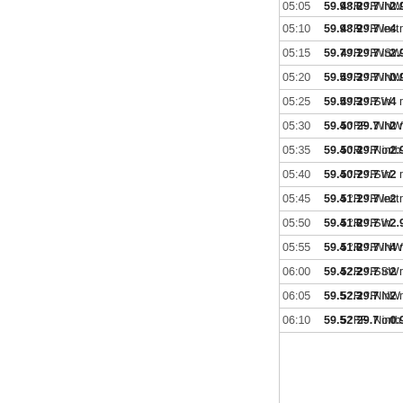| Time | Temp | Dew Point | Pressure | Wind Dir | Wind Speed |
| --- | --- | --- | --- | --- | --- |
| 05:05 | 59.9 °F | 48.8 °F | 29.7 in | WNW | 2.9 mph |
| 05:10 | 59.9 °F | 48.9 °F | 29.7 in | West | 4 mph |
| 05:15 | 59.7 °F | 49.1 °F | 29.7 in | WSW | 2.9 mph |
| 05:20 | 59.5 °F | 49.3 °F | 29.7 in | WNW | 0.9 mph |
| 05:25 | 59.5 °F | 49.3 °F | 29.7 in | SW | 4 mph |
| 05:30 | 59.4 °F | 50 °F | 29.7 in | WNW | 2 mph |
| 05:35 | 59.4 °F | 50.4 °F | 29.7 in | North | 2.9 mph |
| 05:40 | 59.4 °F | 50.7 °F | 29.7 in | SW | 2 mph |
| 05:45 | 59.4 °F | 51.1 °F | 29.7 in | West | 2 mph |
| 05:50 | 59.4 °F | 51.8 °F | 29.7 in | SW | 2.9 mph |
| 05:55 | 59.4 °F | 51.8 °F | 29.7 in | WNW | 4 mph |
| 06:00 | 59.4 °F | 52.2 °F | 29.7 in | SSW | 2 mph |
| 06:05 | 59.5 °F | 52.3 °F | 29.7 in | NNW | 2 mph |
| 06:10 | 59.5 °F | 52 °F | 29.7 in | North | 0.9 mph |